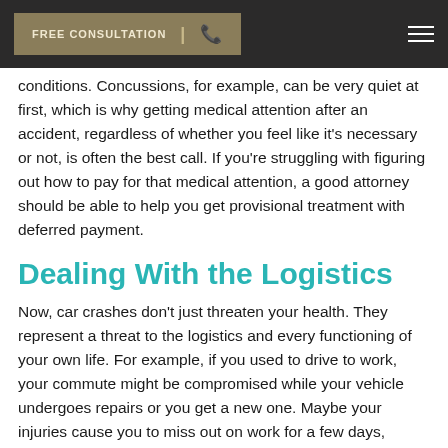FREE CONSULTATION | [phone icon] [hamburger menu]
conditions. Concussions, for example, can be very quiet at first, which is why getting medical attention after an accident, regardless of whether you feel like it's necessary or not, is often the best call. If you're struggling with figuring out how to pay for that medical attention, a good attorney should be able to help you get provisional treatment with deferred payment.
Dealing With the Logistics
Now, car crashes don't just threaten your health. They represent a threat to the logistics and every functioning of your own life. For example, if you used to drive to work, your commute might be compromised while your vehicle undergoes repairs or you get a new one. Maybe your injuries cause you to miss out on work for a few days, affecting your income. There are many different ways in which a car accident can compromise your everyday life